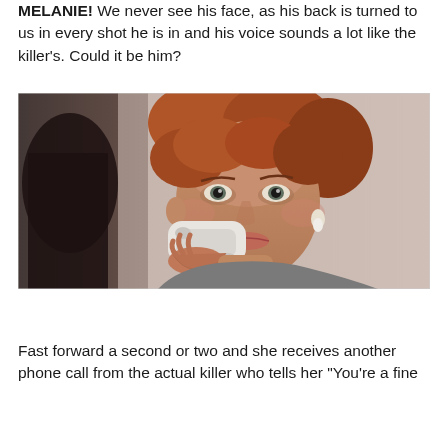MELANIE! We never see his face, as his back is turned to us in every shot he is in and his voice sounds a lot like the killer's. Could it be him?
[Figure (photo): A woman with curly reddish-brown hair holds a white telephone handset to her ear, looking anxious. A dark figure is visible in the blurred background.]
Fast forward a second or two and she receives another phone call from the actual killer who tells her "You're a fine